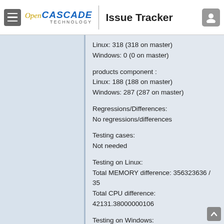Open CASCADE TECHNOLOGY | Issue Tracker
Linux: 318 (318 on master)
Windows: 0 (0 on master)
products component :
Linux: 188 (188 on master)
Windows: 287 (287 on master)
Regressions/Differences:
No regressions/differences
Testing cases:
Not needed
Testing on Linux:
Total MEMORY difference: 356323636 / 35
Total CPU difference: 42131.38000000106
Testing on Windows:
Total MEMORY difference: 411357268 / 41
Total CPU difference: 32633.25 / 30177.29